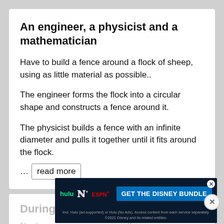An engineer, a physicist and a mathematician
Have to build a fence around a flock of sheep, using as little material as possible..
The engineer forms the flock into a circular shape and constructs a fence around it.
The physicist builds a fence with an infinite diameter and pulls it together until it fits around the flock.
… read more
UPVOTE   DOWNVOTE   REPORT
During my trivia game, i asked th...
[Figure (screenshot): Disney Bundle advertisement showing Hulu, Disney+, and ESPN+ logos with 'GET THE DISNEY BUNDLE' call to action button on dark background]